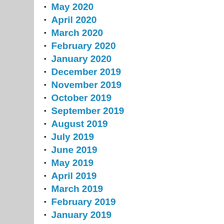May 2020
April 2020
March 2020
February 2020
January 2020
December 2019
November 2019
October 2019
September 2019
August 2019
July 2019
June 2019
May 2019
April 2019
March 2019
February 2019
January 2019
December 2018
November 2018
October 2018
September 2018
August 2018